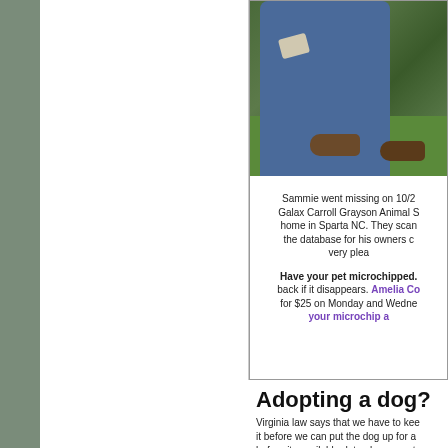[Figure (photo): Photo of a person crouching on grass, wearing torn blue jeans and brown shoes, holding a dog]
Sammie went missing on 10/27. Galax Carroll Grayson Animal Shelter found him far from home in Sparta NC. They scanned the database for his owners co... very pleas...
Have your pet microchipped. back if it disappears. Amelia Co... for $25 on Monday and Wednes... your microchip a...
Adopting a dog?
Virginia law says that we have to kee... it before we can put the dog up for a... before its available date please conta...